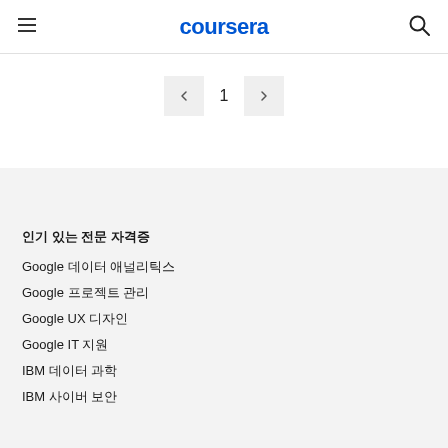coursera
[Figure (screenshot): Pagination control showing left arrow, page number 1, and right arrow]
인기 있는 전문 자격증
Google 데이터 애널리틱스
Google 프로젝트 관리
Google UX 디자인
Google IT 지원
IBM 데이터 과학
IBM 사이버 보안